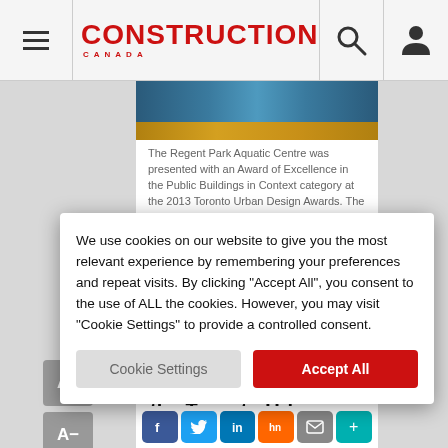CONSTRUCTION CANADA
[Figure (photo): Partial view of the Regent Park Aquatic Centre exterior showing blue and gold architectural elements]
The Regent Park Aquatic Centre was presented with an Award of Excellence in the Public Buildings in Context category at the 2013 Toronto Urban Design Awards. The facility includes a 25-m (82-ft) six-lane pool, leisure pool, hot tub, slide, Tarzan rope, and a diving board. Photo © Shai Gil.
A redeveloped bus terminal, swimming pool facility, and green parkettes were among the winners of the Toronto Urban Design Awards, honouring
We use cookies on our website to give you the most relevant experience by remembering your preferences and repeat visits. By clicking "Accept All", you consent to the use of ALL the cookies. However, you may visit "Cookie Settings" to provide a controlled consent.